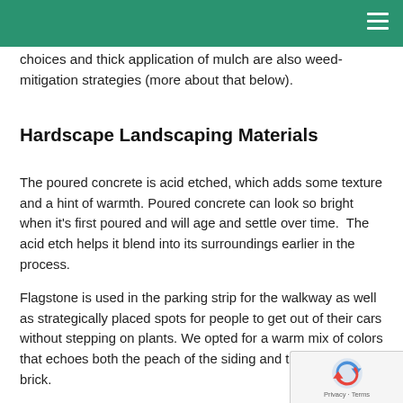choices and thick application of mulch are also weed-mitigation strategies (more about that below).
Hardscape Landscaping Materials
The poured concrete is acid etched, which adds some texture and a hint of warmth. Poured concrete can look so bright when it’s first poured and will age and settle over time.  The acid etch helps it blend into its surroundings earlier in the process.
Flagstone is used in the parking strip for the walkway as well as strategically placed spots for people to get out of their cars without stepping on plants. We opted for a warm mix of colors that echoes both the peach of the siding and the reds of the brick.